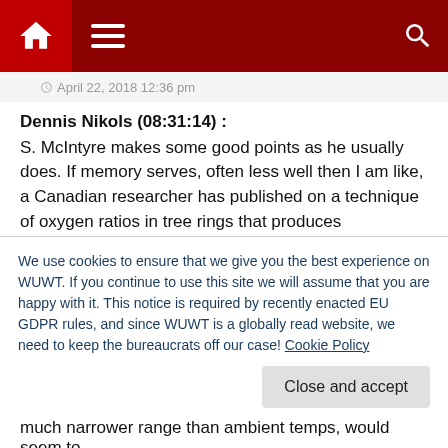Navigation bar with home, menu, and search icons
April 22, 2018 12:36 pm
Dennis Nikols (08:31:14) :
S. McIntyre makes some good points as he usually does. If memory serves, often less well then I am like, a Canadian researcher has published on a technique of oxygen ratios in tree rings that produces temperature proxies. Her method removes most of the usual objections about growth rates
Leif Svalgaard (08:59:35) :
If the old chronologies are 'made available' does that mean the measurements or are the actual samples of woods still
We use cookies to ensure that we give you the best experience on WUWT. If you continue to use this site we will assume that you are happy with it. This notice is required by recently enacted EU GDPR rules, and since WUWT is a globally read website, we need to keep the bureaucrats off our case! Cookie Policy
Close and accept
much narrower range than ambient temps, would seem to